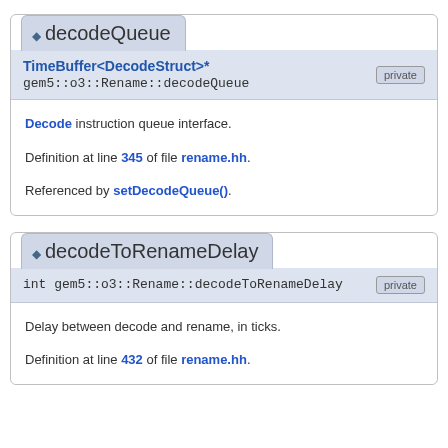decodeQueue
TimeBuffer<DecodeStruct>*
gem5::o3::Rename::decodeQueue [private]
Decode instruction queue interface.

Definition at line 345 of file rename.hh.

Referenced by setDecodeQueue().
decodeToRenameDelay
int gem5::o3::Rename::decodeToRenameDelay [private]
Delay between decode and rename, in ticks.

Definition at line 432 of file rename.hh.